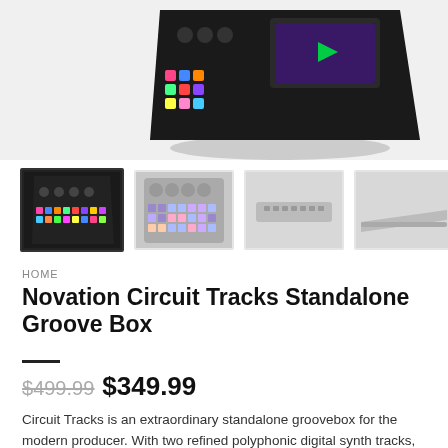[Figure (photo): Top portion of a Novation Circuit Tracks device shown at an angle against a light background, partially cropped at the top of the page]
[Figure (photo): Four product thumbnail images of the Novation Circuit Tracks from different angles: front angled view (selected, with border), top-down view, back panel view, side view]
HOME
Novation Circuit Tracks Standalone Groove Box
$499.99  $349.99
Circuit Tracks is an extraordinary standalone groovebox for the modern producer. With two refined polyphonic digital synth tracks, four drum tracks, creative FX and